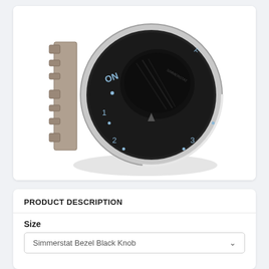[Figure (photo): Close-up photo of a Simmerstat Bezel Black Knob — a round black dial with settings labeled ON, 1, 2, 3 in light blue text, mounted in a silver/chrome bezel with a metal bracket on the left side.]
PRODUCT DESCRIPTION
Size
Simmerstat Bezel Black Knob